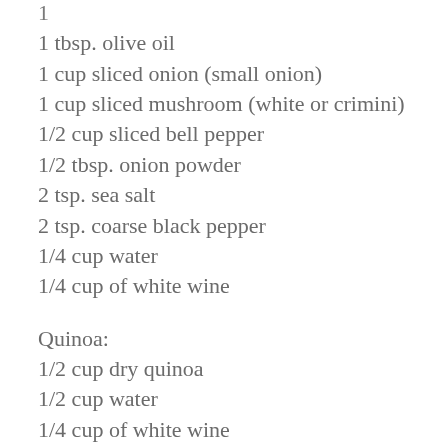1 tbsp. olive oil
1 cup sliced onion (small onion)
1 cup sliced mushroom (white or crimini)
1/2 cup sliced bell pepper
1/2 tbsp. onion powder
2 tsp. sea salt
2 tsp. coarse black pepper
1/4 cup water
1/4 cup of white wine
Quinoa:
1/2 cup dry quinoa
1/2 cup water
1/4 cup of white wine
1 tbsp. chopped basil (optional)